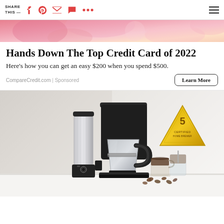SHARE THIS —
[Figure (screenshot): Pink floral banner image at top of page]
Hands Down The Top Credit Card of 2022
Here's how you can get an easy $200 when you spend $500.
CompareCredit.com | Sponsored
[Figure (photo): Black premium coffee maker machine with glass carafe, grinder attachment, gold certification badge, and two coffee glasses with coffee beans on white surface]